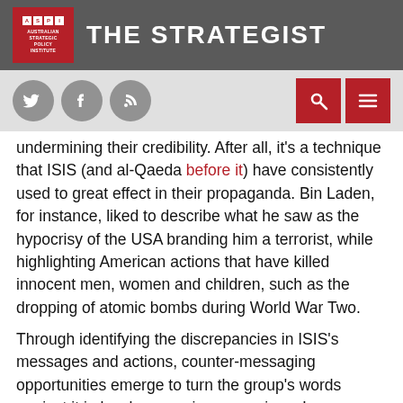THE STRATEGIST
undermining their credibility. After all, it's a technique that ISIS (and al-Qaeda before it) have consistently used to great effect in their propaganda. Bin Laden, for instance, liked to describe what he saw as the hypocrisy of the USA branding him a terrorist, while highlighting American actions that have killed innocent men, women and children, such as the dropping of atomic bombs during World War Two.
Through identifying the discrepancies in ISIS's messages and actions, counter-messaging opportunities emerge to turn the group's words against it in local messaging campaigns. In Bangladesh, a good start would be to shatter ISIS's 'retribution' justification for its violence by showing the reality that it's been ordinary Bangladeshis, not foreigners, who've borne the brunt of ISIS's brutality. The same situation has been observed in Iraq,